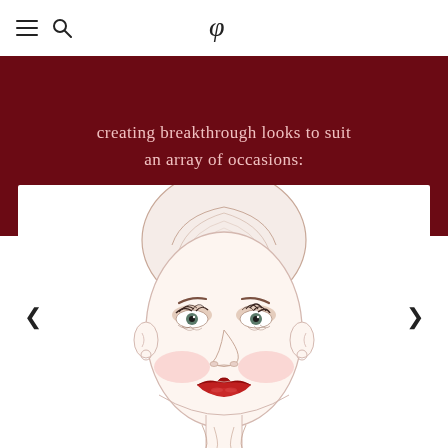≡  🔍  Clé de Peau Beauté logo
creating breakthrough looks to suit an array of occasions:
[Figure (illustration): Fashion illustration of a female face with makeup: defined brows, smoky eye shadow, rosy blush on cheeks, and bold red lips. Hair is pulled back smoothly. Face is rendered in a minimalist line-art style.]